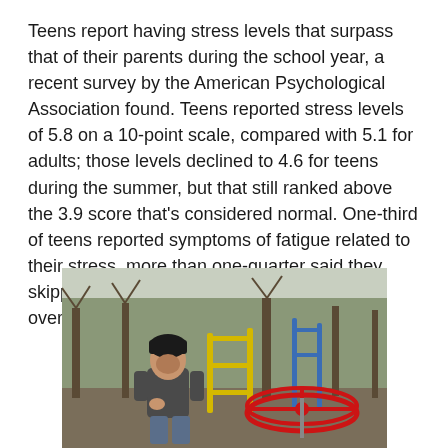Teens report having stress levels that surpass that of their parents during the school year, a recent survey by the American Psychological Association found. Teens reported stress levels of 5.8 on a 10-point scale, compared with 5.1 for adults; those levels declined to 4.6 for teens during the summer, but that still ranked above the 3.9 score that's considered normal. One-third of teens reported symptoms of fatigue related to their stress, more than one-quarter said they skipped meals, and some 30% said they felt overwhelmed or depressed.
[Figure (photo): A teenage boy wearing a black beanie hat and dark jacket sits hunched over at an outdoor playground with colorful playground equipment (red merry-go-round, yellow and blue bars) and bare trees in the background.]